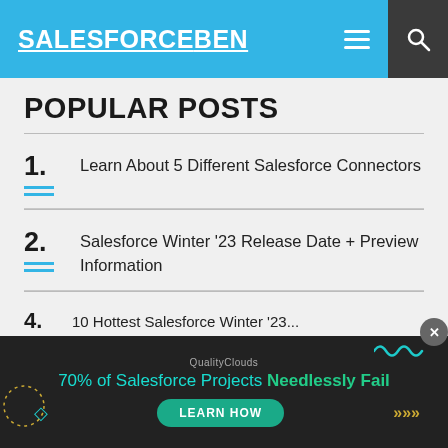SALESFORCEBEN
POPULAR POSTS
1. Learn About 5 Different Salesforce Connectors
2. Salesforce Winter '23 Release Date + Preview Information
3. Salesforce Admin...
[Figure (infographic): QualityClouds ad banner: '70% of Salesforce Projects Needlessly Fail' with a LEARN HOW button]
4. 10 Hottest Salesforce Winter '23...